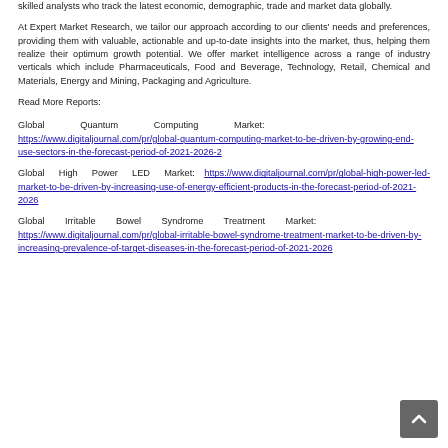skilled analysts who track the latest economic, demographic, trade and market data globally.
At Expert Market Research, we tailor our approach according to our clients' needs and preferences, providing them with valuable, actionable and up-to-date insights into the market, thus, helping them realize their optimum growth potential. We offer market intelligence across a range of industry verticals which include Pharmaceuticals, Food and Beverage, Technology, Retail, Chemical and Materials, Energy and Mining, Packaging and Agriculture.
Read More Reports:
Global Quantum Computing Market: https://www.digitaljournal.com/pr/global-quantum-computing-market-to-be-driven-by-growing-end-use-sectors-in-the-forecast-period-of-2021-2026-2
Global High Power LED Market: https://www.digitaljournal.com/pr/global-high-power-led-market-to-be-driven-by-increasing-use-of-energy-efficient-products-in-the-forecast-period-of-2021-2026
Global Irritable Bowel Syndrome Treatment Market: https://www.digitaljournal.com/pr/global-irritable-bowel-syndrome-treatment-market-to-be-driven-by-increasing-prevalence-of-target-diseases-in-the-forecast-period-of-2021-2026